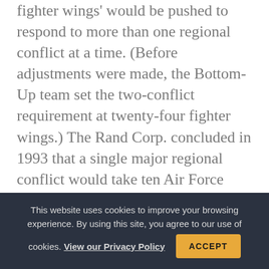fighter wings' would be pushed to respond to more than one regional conflict at a time. (Before adjustments were made, the Bottom-Up team set the two-conflict requirement at twenty-four fighter wings.) The Rand Corp. concluded in 1993 that a single major regional conflict would take ten Air Force fighter wings, eighty heavy bombers, and ninety percent of the airlift fleet. Rand reminded us that US deployments to the Korean, Vietnam, and Persian Gulf conflicts exceeded the prewar expectations of planners, and by a factor of
This website uses cookies to improve your browsing experience. By using this site, you agree to our use of cookies. View our Privacy Policy
ACCEPT